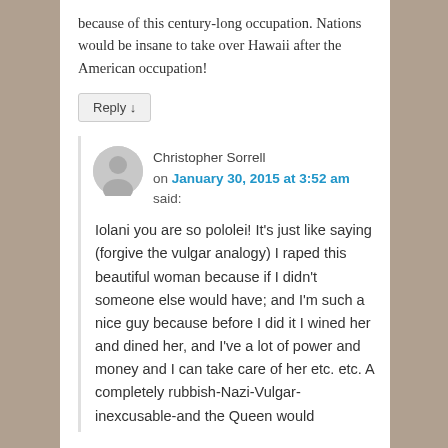because of this century-long occupation. Nations would be insane to take over Hawaii after the American occupation!
Reply ↓
Christopher Sorrell on January 30, 2015 at 3:52 am said:
Iolani you are so pololei! It's just like saying (forgive the vulgar analogy) I raped this beautiful woman because if I didn't someone else would have; and I'm such a nice guy because before I did it I wined her and dined her, and I've a lot of power and money and I can take care of her etc. etc. A completely rubbish-Nazi-Vulgar-inexcusable-and the Queen would